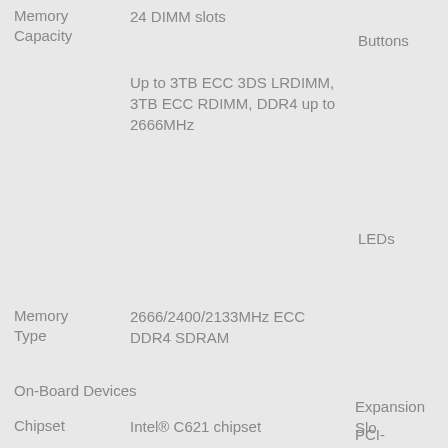| Feature | Value | Feature2 |
| --- | --- | --- |
| Memory Capacity | 24 DIMM slots

Up to 3TB ECC 3DS LRDIMM, 3TB ECC RDIMM, DDR4 up to 2666MHz | Buttons |
|  |  | LEDs |
| Memory Type | 2666/2400/2133MHz ECC DDR4 SDRAM |  |
| On-Board Devices |  |  |
| Chipset | Intel® C621 chipset | Expansion Slots |
|  |  | PCI-Express |